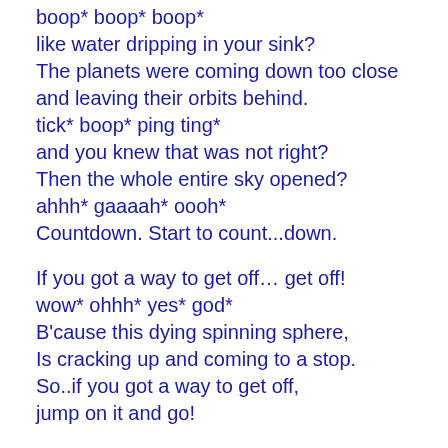boop* boop* boop*
like water dripping in your sink?
The planets were coming down too close
and leaving their orbits behind.
tick* boop* ping ting*
and you knew that was not right?
Then the whole entire sky opened?
ahhh* gaaaah* oooh*
Countdown. Start to count...down.

If you got a way to get off… get off!
wow* ohhh* yes* god*
B'cause this dying spinning sphere,
Is cracking up and coming to a stop.
So..if you got a way to get off,
jump on it and go!